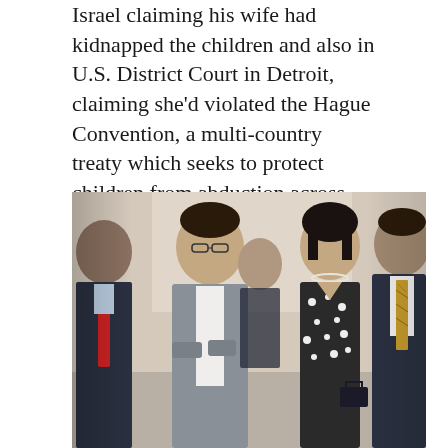Israel claiming his wife had kidnapped the children and also in U.S. District Court in Detroit, claiming she'd violated the Hague Convention, a multi-country treaty which seeks to protect children from abduction across international boundaries.
[Figure (photo): Four people walking together in a hallway. From left: a man in a dark suit with a red tie, a young man in a gray suit with white shirt, partly obscured person behind, a woman in a black and white floral dress with dark hair and pearl necklace, and a man in a dark suit with a patterned tie on the right.]